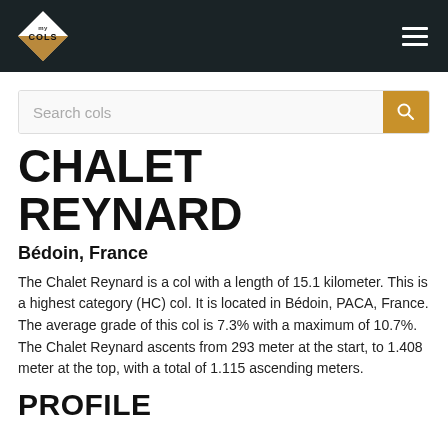my COLS (logo) — navigation header
Search cols
CHALET REYNARD
Bédoin, France
The Chalet Reynard is a col with a length of 15.1 kilometer. This is a highest category (HC) col. It is located in Bédoin, PACA, France. The average grade of this col is 7.3% with a maximum of 10.7%. The Chalet Reynard ascents from 293 meter at the start, to 1.408 meter at the top, with a total of 1.115 ascending meters.
PROFILE